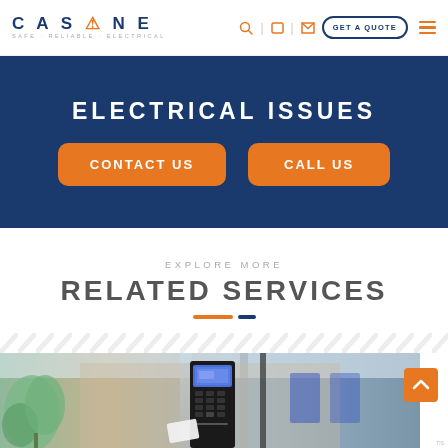CAS ONE — SAFE RELIABLE ELECTRICAL | GET A QUOTE
ELECTRICAL ISSUES
CONTACT US | CALL US
EXPLORE MORE
RELATED SERVICES
[Figure (photo): Photo of an electronic door access control keypad/intercom device mounted at a building entrance with blurred office interior background featuring green plant and glass walls.]